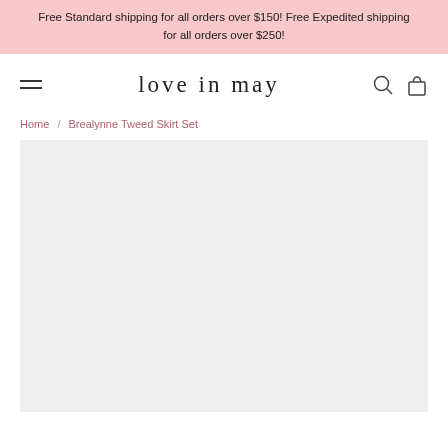Free Standard shipping for all orders over $150! Free Expedited shipping for all orders over $250!
love in may
Home / Brealynne Tweed Skirt Set
[Figure (photo): Product image placeholder area — light grey rectangle representing a product photo for the Brealynne Tweed Skirt Set]